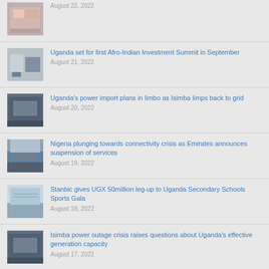August 22, 2022
Uganda set for first Afro-Indian Investment Summit in September
August 21, 2022
Uganda's power import plans in limbo as Isimba limps back to grid
August 20, 2022
Nigeria plunging towards connectivity crisis as Emirates announces suspension of services
August 19, 2022
Stanbic gives UGX 50million leg-up to Uganda Secondary Schools Sports Gala
August 18, 2022
Isimba power outage crisis raises questions about Uganda's effective generation capacity
August 17, 2022
Malaysian Airlines A330-900neo selection propels order tally